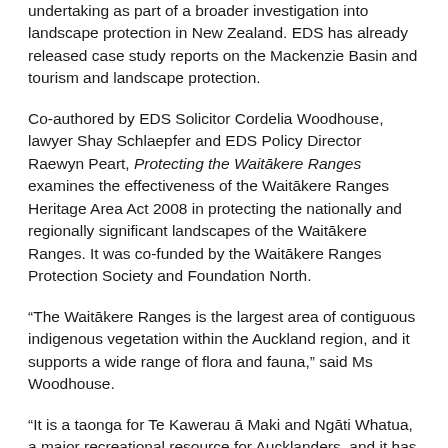undertaking as part of a broader investigation into landscape protection in New Zealand. EDS has already released case study reports on the Mackenzie Basin and tourism and landscape protection.
Co-authored by EDS Solicitor Cordelia Woodhouse, lawyer Shay Schlaepfer and EDS Policy Director Raewyn Peart, Protecting the Waitākere Ranges examines the effectiveness of the Waitākere Ranges Heritage Area Act 2008 in protecting the nationally and regionally significant landscapes of the Waitākere Ranges. It was co-funded by the Waitākere Ranges Protection Society and Foundation North.
“The Waitākere Ranges is the largest area of contiguous indigenous vegetation within the Auckland region, and it supports a wide range of flora and fauna,” said Ms Woodhouse.
“It is a taonga for Te Kawerau ā Maki and Ngāti Whatua, a major recreational resource for Aucklanders, and it has been under considerable threat from the fast-expanding